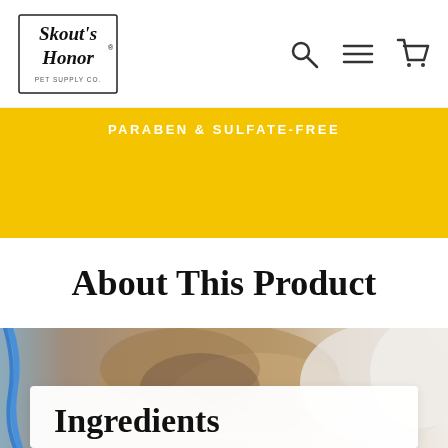Skout's Honor Pet Supply Co.
PARABEN & SULFATE-FREE
About This Product
[Figure (photo): Close-up photo of hands grooming a dog's fur, with a blue cord visible on the left side.]
Ingredients